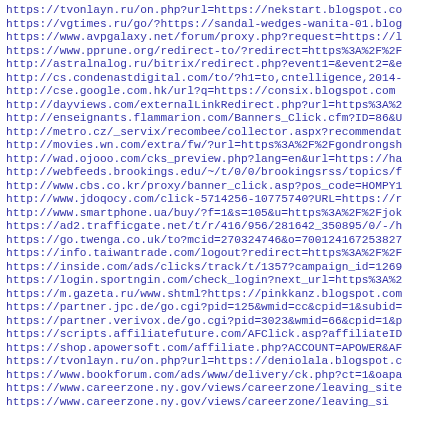https://tvonlayn.ru/on.php?url=https://nekstart.blogspot.co
https://vgtimes.ru/go/?https://sandal-wedges-wanita-01.blog
https://www.avpgalaxy.net/forum/proxy.php?request=https://l
https://www.pprune.org/redirect-to/?redirect=https%3A%2F%2F
http://astralnalog.ru/bitrix/redirect.php?event1=&event2=&e
http://cs.condenastdigital.com/to/?h1=to,cntelligence,2014-
http://cse.google.com.hk/url?q=https://consix.blogspot.com
http://dayviews.com/externalLinkRedirect.php?url=https%3A%2
http://enseignants.flammarion.com/Banners_Click.cfm?ID=86&U
http://metro.cz/_servix/recombee/collector.aspx?recommendat
http://movies.wn.com/extra/fw/?url=https%3A%2F%2Fgondrongsh
http://wad.ojooo.com/cks_preview.php?lang=en&url=https://ha
http://webfeeds.brookings.edu/~/t/0/0/brookingsrss/topics/f
http://www.cbs.co.kr/proxy/banner_click.asp?pos_code=HOMPY1
http://www.jdoqocy.com/click-5714256-10775740?URL=https://r
http://www.smartphone.ua/buy/?f=1&s=105&u=https%3A%2F%2Fjok
https://ad2.trafficgate.net/t/r/416/956/281642_350895/0/-/h
https://go.twenga.co.uk/to?mcid=270324746&o=700124167253827
https://info.taiwantrade.com/logout?redirect=https%3A%2F%2F
https://inside.com/ads/clicks/track/t/1357?campaign_id=1269
https://login.sportngin.com/check_login?next_url=https%3A%2
https://m.gazeta.ru/www.shtml?https://pinkkanz.blogspot.com
https://partner.jpc.de/go.cgi?pid=125&wmid=cc&cpid=1&subid=
https://partner.verivox.de/go.cgi?pid=3023&wmid=66&cpid=1&p
https://scripts.affiliatefuture.com/AFClick.asp?affiliateID
https://shop.apowersoft.com/affiliate.php?ACCOUNT=APOWER&AF
https://tvonlayn.ru/on.php?url=https://deniolala.blogspot.c
https://www.bookforum.com/ads/www/delivery/ck.php?ct=1&oapa
https://www.careerzone.ny.gov/views/careerzone/leaving_site
https://www.careerzone.ny.gov/views/careerzone/leaving_si